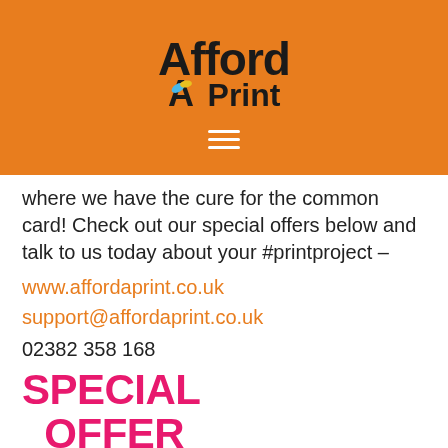[Figure (logo): AffordAPrint logo on orange background with hamburger menu icon]
where we have the cure for the common card! Check out our special offers below and talk to us today about your #printproject –
www.affordaprint.co.uk
support@affordaprint.co.uk
02382 358 168
SPECIAL OFFER
Offer 3